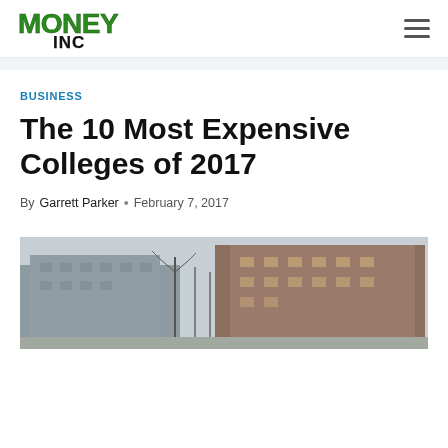Money Inc logo and navigation
BUSINESS
The 10 Most Expensive Colleges of 2017
By Garrett Parker · February 7, 2017
[Figure (photo): Photograph of college campus buildings, brick and concrete structures with bare trees, overcast sky]